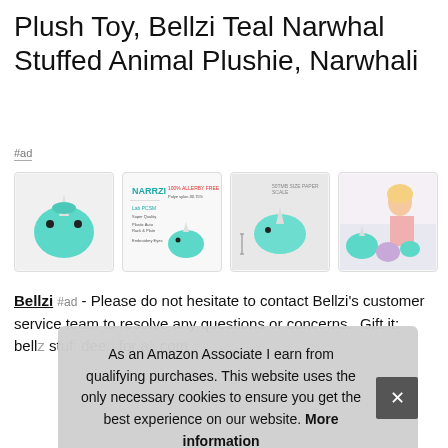Plush Toy, Bellzi Teal Narwhal Stuffed Animal Plushie, Narwhali
#ad
[Figure (photo): Four product images of a teal narwhal plush toy: front view, product info card with NARRZI branding, side view with measurements, and lifestyle photo of a girl with multiple narwhal plushies]
Bellzi #ad - Please do not hesitate to contact Bellzi's customer service team to resolve any questions or concerns. Gift it: bellz… stuffed… dee… for a… com…
As an Amazon Associate I earn from qualifying purchases. This website uses the only necessary cookies to ensure you get the best experience on our website. More information